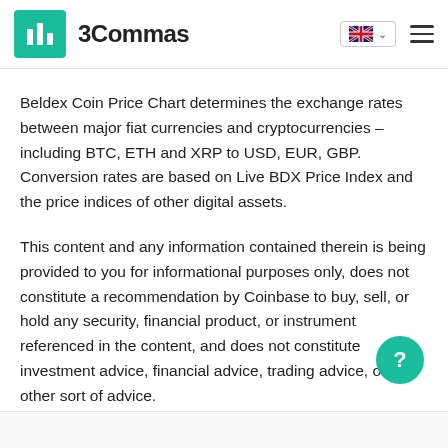3Commas
Beldex Coin Price Chart determines the exchange rates between major fiat currencies and cryptocurrencies – including BTC, ETH and XRP to USD, EUR, GBP. Conversion rates are based on Live BDX Price Index and the price indices of other digital assets.
This content and any information contained therein is being provided to you for informational purposes only, does not constitute a recommendation by Coinbase to buy, sell, or hold any security, financial product, or instrument referenced in the content, and does not constitute investment advice, financial advice, trading advice, or any other sort of advice.